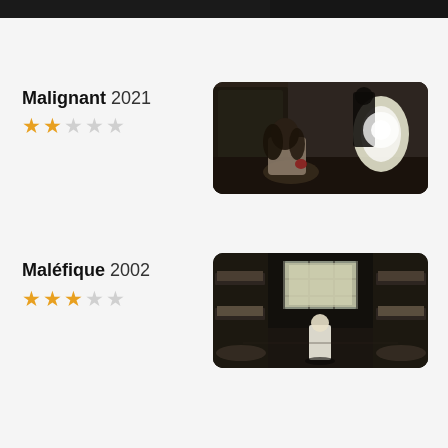[Figure (photo): Top partial crop of a dark movie still (black and white or very dark tones)]
Malignant 2021
★★☆☆☆
[Figure (photo): Movie still from Malignant (2021): a woman sitting on the floor in a dimly lit room with a bright spotlight in the background and a dark shadowy figure near a door]
Maléfique 2002
★★★☆☆
[Figure (photo): Movie still from Maléfique (2002): a small figure standing at a barred window in a dark prison-like room with bunk beds on either side]